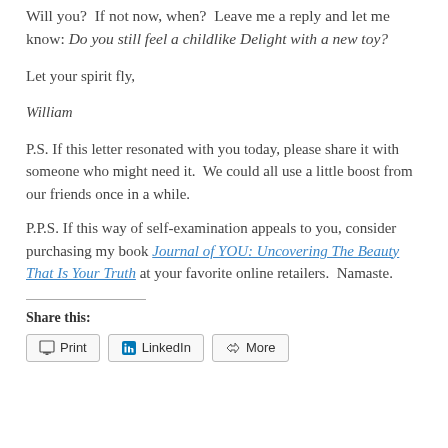Will you?  If not now, when?  Leave me a reply and let me know: Do you still feel a childlike Delight with a new toy?
Let your spirit fly,
William
P.S. If this letter resonated with you today, please share it with someone who might need it.  We could all use a little boost from our friends once in a while.
P.P.S. If this way of self-examination appeals to you, consider purchasing my book Journal of YOU: Uncovering The Beauty That Is Your Truth at your favorite online retailers.  Namaste.
Share this:
Print  LinkedIn  More